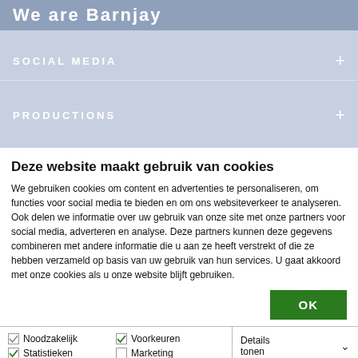We are Barnjay
SOCIAL MEDIA
PRODUCTIONS
Deze website maakt gebruik van cookies
We gebruiken cookies om content en advertenties te personaliseren, om functies voor social media te bieden en om ons websiteverkeer te analyseren. Ook delen we informatie over uw gebruik van onze site met onze partners voor social media, adverteren en analyse. Deze partners kunnen deze gegevens combineren met andere informatie die u aan ze heeft verstrekt of die ze hebben verzameld op basis van uw gebruik van hun services. U gaat akkoord met onze cookies als u onze website blijft gebruiken.
| ✔ Noodzakelijk | ✔ Voorkeuren | Details tonen |
| ✔ Statistieken | ☐ Marketing |  |